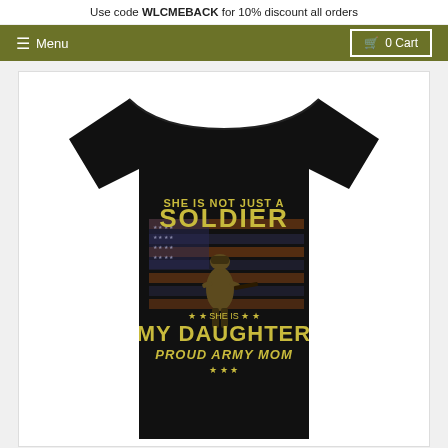Use code WLCMEBACK for 10% discount all orders
☰ Menu
🛒 0 Cart
[Figure (photo): Back of a black t-shirt with text: SHE IS NOT JUST A SOLDIER SHE IS MY DAUGHTER PROUD ARMY MOM, featuring a soldier figure and distressed American flag graphic in yellow/gold and orange tones]